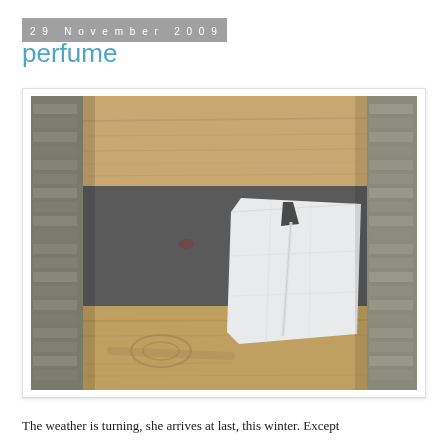29 November 2009
perfume
[Figure (photo): Photograph of a building exterior showing wooden plywood boards horizontally across the middle, brick walls on both sides, dark grey painted wall in the center, and a torn/weathered white paper or poster affixed to the dark wall with what appears to be a thin stick or rod through it.]
The weather is turning, she arrives at last, this winter. Except